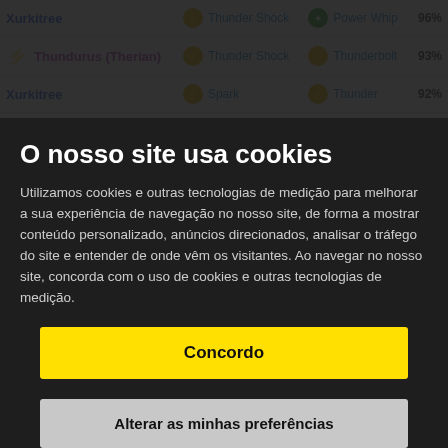| Pokémon | Fast Move | Charge Move | % |
| --- | --- | --- | --- |
| Xurkitree | Thunder Shock | Power Whip | 96% |
| Thundurus (Therian) | Thunder Shock | Thunderbolt | 93% |
| Xurkitree | Spark | Thunder | 92% |
| Thundurus (Therian) | Volt Switch | Thunderbolt | 91% |
| Zekrom | Charge Beam | Wild Charge | 91% |
| Xurkitree | Thunder Shock | Thunder | 91% |
| Zekrom | Charge Beam | Zap Cannon | 89% |
O nosso site usa cookies
Utilizamos cookies e outras tecnologias de medição para melhorar a sua experiência de navegação no nosso site, de forma a mostrar conteúdo personalizado, anúncios direcionados, analisar o tráfego do site e entender de onde vêm os visitantes. Ao navegar no nosso site, concorda com o uso de cookies e outras tecnologias de medição.
Concordo
Alterar as minhas preferências